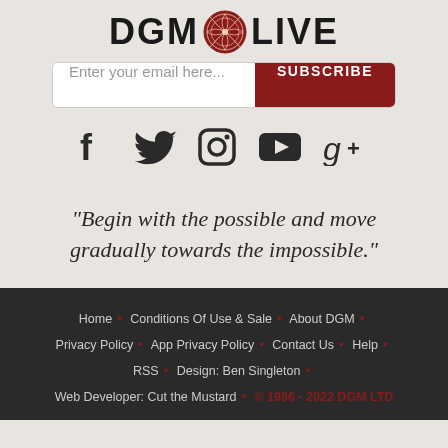[Figure (logo): DGM LIVE logo with decorative circular emblem between DGM and LIVE text]
[Figure (other): Email subscription bar with 'Enter your email here...' placeholder and red SUBSCRIBE button]
[Figure (other): Social media icons: Facebook, Twitter, Instagram, YouTube, Google+]
"Begin with the possible and move gradually towards the impossible."
Home • Conditions Of Use & Sale • About DGM • Privacy Policy • App Privacy Policy • Contact Us • Help • RSS • Design: Ben Singleton • Web Developer: Cut the Mustard • © 1986 - 2022 DGM LTD